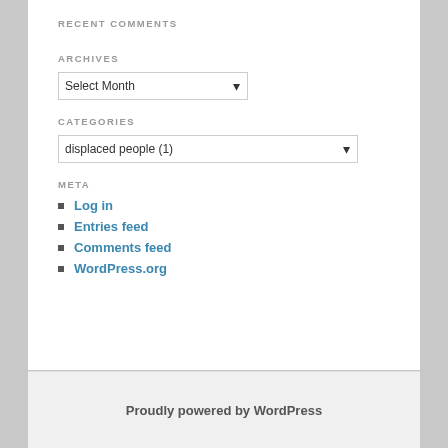RECENT COMMENTS
ARCHIVES
CATEGORIES
META
Log in
Entries feed
Comments feed
WordPress.org
Proudly powered by WordPress